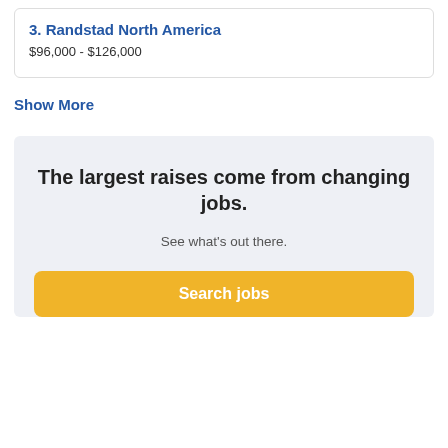3. Randstad North America
$96,000 - $126,000
Show More
The largest raises come from changing jobs.
See what’s out there.
Search jobs